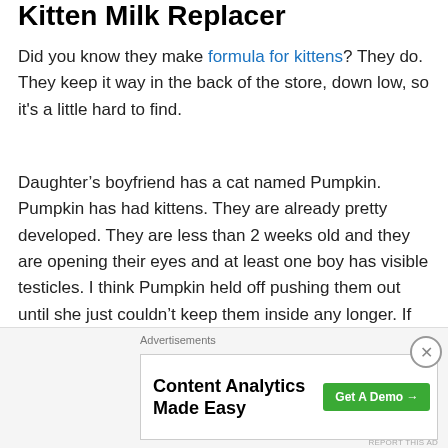Kitten Milk Replacer
Did you know they make formula for kittens? They do. They keep it way in the back of the store, down low, so it's a little hard to find.
Daughter’s boyfriend has a cat named Pumpkin. Pumpkin has had kittens. They are already pretty developed. They are less than 2 weeks old and they are opening their eyes and at least one boy has visible testicles. I think Pumpkin held off pushing them out until she just couldn’t keep them inside any longer. If that’s possible.
Now it’s a first litter for Pumpkin, and she is a young cat, so daughter wasn’t sure how it would go. It’s mostly gone
Advertisements
[Figure (other): Advertisement banner for Parse.ly: Content Analytics Made Easy, with a green Get A Demo button and Parse.ly logo]